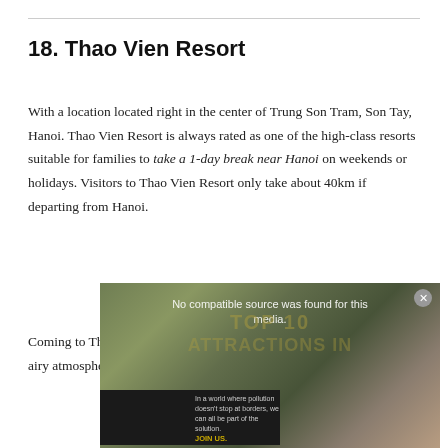18. Thao Vien Resort
With a location located right in the center of Trung Son Tram, Son Tay, Hanoi. Thao Vien Resort is always rated as one of the high-class resorts suitable for families to take a 1-day break near Hanoi on weekends or holidays. Visitors to Thao Vien Resort only take about 40km if departing from Hanoi.
[Figure (screenshot): Video player overlay showing 'No compatible source was found for this media.' message with TOP 10 ATTRACTIONS IN watermark text and a Pure Earth advertisement banner at the bottom]
Coming to Thao Vien Resort, you will be immersed in a peaceful and airy atmosphere. Mix in a bit of peace with a landscape filled